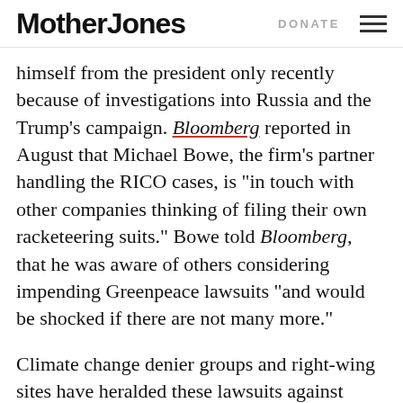Mother Jones   DONATE
himself from the president only recently because of investigations into Russia and the Trump's campaign. Bloomberg reported in August that Michael Bowe, the firm's partner handling the RICO cases, is "in touch with other companies thinking of filing their own racketeering suits." Bowe told Bloomberg, that he was aware of others considering impending Greenpeace lawsuits "and would be shocked if there are not many more."
Climate change denier groups and right-wing sites have heralded these lawsuits against Greenpeace. But there is a double standard here: when environmentalists floated a federal RICO investigation into ExxonMobil regarding its years